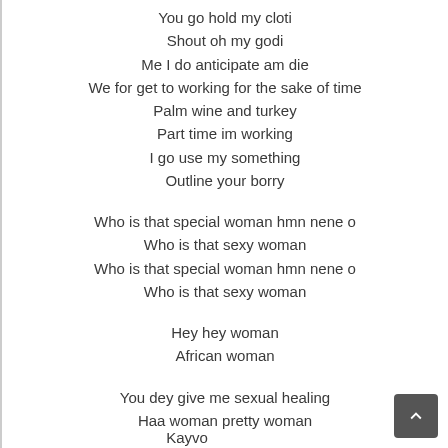You go hold my cloti
Shout oh my godi
Me I do anticipate am die
We for get to working for the sake of time
Palm wine and turkey
Part time im working
I go use my something
Outline your borry

Who is that special woman hmn nene o
Who is that sexy woman
Who is that special woman hmn nene o
Who is that sexy woman

Hey hey woman
African woman

You dey give me sexual healing
Haa woman pretty woman
Kayvo